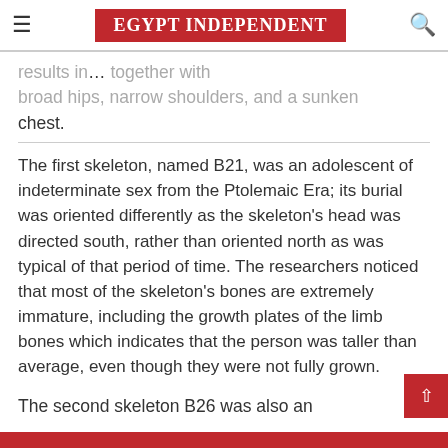EGYPT INDEPENDENT
results in… together with broad hips, narrow shoulders, and a sunken chest.
The first skeleton, named B21, was an adolescent of indeterminate sex from the Ptolemaic Era; its burial was oriented differently as the skeleton's head was directed south, rather than oriented north as was typical of that period of time. The researchers noticed that most of the skeleton's bones are extremely immature, including the growth plates of the limb bones which indicates that the person was taller than average, even though they were not fully grown.
The second skeleton B26 was also an